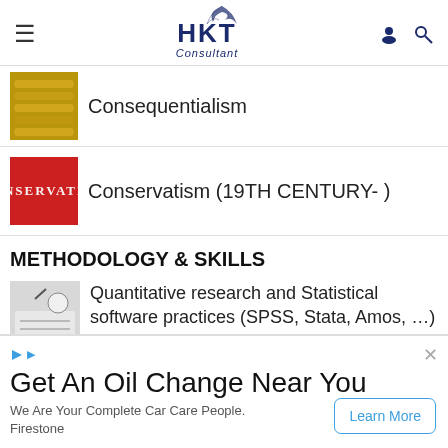HKT Consultant
Consequentialism
Conservatism (19TH CENTURY- )
METHODOLOGY & SKILLS
Quantitative research and Statistical software practices (SPSS, Stata, Amos, …)
[Figure (screenshot): Advertisement banner: Get An Oil Change Near You - Firestone. Learn More button.]